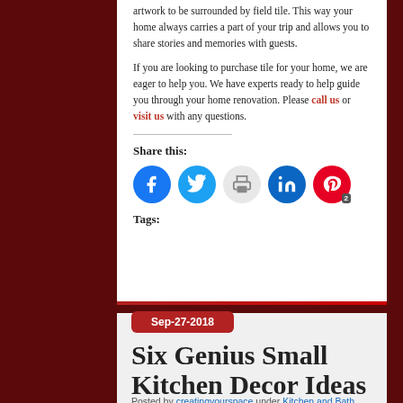artwork to be surrounded by field tile. This way your home always carries a part of your trip and allows you to share stories and memories with guests.

If you are looking to purchase tile for your home, we are eager to help you. We have experts ready to help guide you through your home renovation. Please call us or visit us with any questions.
Share this:
[Figure (infographic): Social sharing buttons: Facebook (blue circle), Twitter (light blue circle), Print (light gray circle), LinkedIn (dark blue circle), Pinterest (red circle with badge showing 2)]
Tags:
Sep-27-2018
Six Genius Small Kitchen Decor Ideas
Posted by creatingyourspace under Kitchen and Bath
[Figure (photo): Photo of a small kitchen with white cabinets, overhead lighting fixture, and countertops]